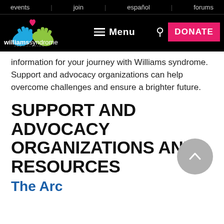events | join | español | forums
[Figure (logo): Williams Syndrome Association logo with colorful hand shapes and heart, with text 'williamssyndrome ASSOCIATION']
information for your journey with Williams syndrome. Support and advocacy organizations can help overcome challenges and ensure a brighter future.
SUPPORT AND ADVOCACY ORGANIZATIONS AND RESOURCES
The Arc